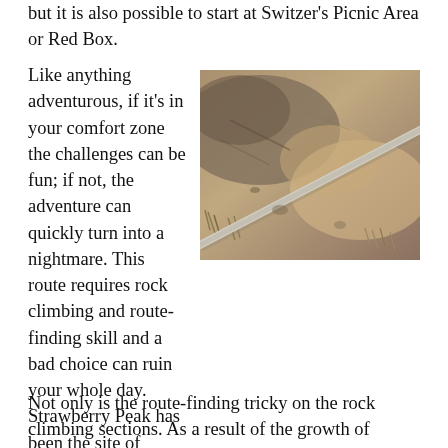but it is also possible to start at Switzer's Picnic Area or Red Box.
[Figure (photo): Close-up photo of dry, sandy rocky terrain with a diagonal pole or branch crossing the frame from lower-left to upper-right, surrounded by dry brush and dirt.]
Like anything adventurous, if it's in your comfort zone the challenges can be fun; if not, the adventure can quickly turn into a nightmare. This route requires rock climbing and route-finding skill and a bad choice can ruin your whole day. Strawberry Peak has been the site of numerous search and rescue operations. The rock on the west side of the peak is of variable quality and if you go off-route it's easy to become trapped in a spot where you can't safely go up or down.
Not only is the route-finding tricky on the rock climbing sections. As a result of the growth of Poodle-dog bush